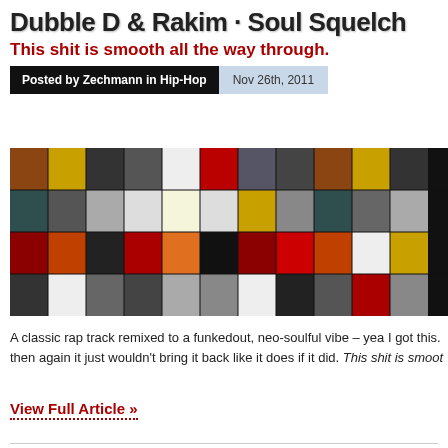Dubble D & Rakim · Soul Squelch
This shit is smooth all the way through.
Posted by Zechmann in Hip-Hop   Nov 26th, 2011
[Figure (photo): Mosaic/collage of many album covers arranged in a grid against a black background]
A classic rap track remixed to a funkedout, neo-soulful vibe – yea I got this. then again it just wouldn't bring it back like it does if it did. This shit is smoot
View Full Article »